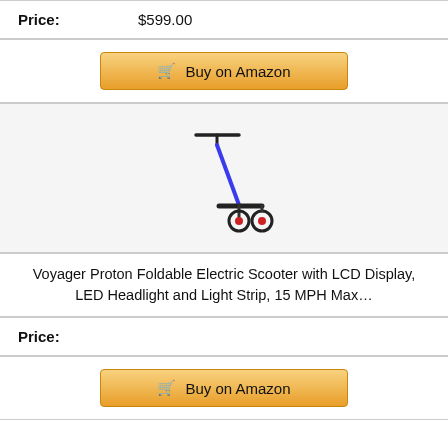Price: $599.00
Buy on Amazon
[Figure (photo): Electric scooter product image - black foldable scooter with blue accents and red wheel accents]
Voyager Proton Foldable Electric Scooter with LCD Display, LED Headlight and Light Strip, 15 MPH Max…
Price:
Buy on Amazon